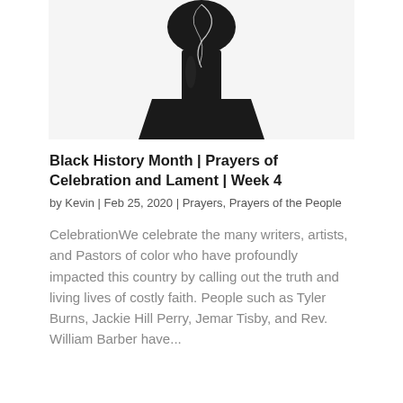[Figure (photo): A dark/black artistic photograph showing what appears to be a figure or form with a wire or string element, photographed against a white background.]
Black History Month | Prayers of Celebration and Lament | Week 4
by Kevin | Feb 25, 2020 | Prayers, Prayers of the People
CelebrationWe celebrate the many writers, artists, and Pastors of color who have profoundly impacted this country by calling out the truth and living lives of costly faith. People such as Tyler Burns, Jackie Hill Perry, Jemar Tisby, and Rev. William Barber have...